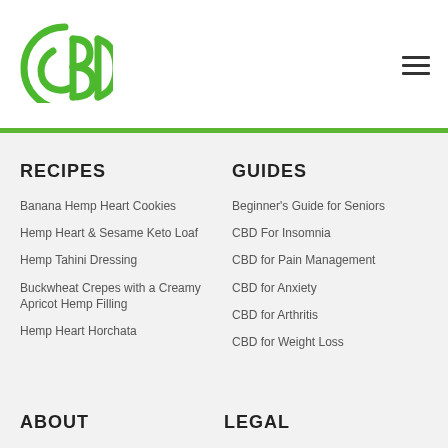[Figure (logo): CBD Seniors logo — green circular CBD icon above text SENIORS]
[Figure (other): Hamburger menu icon (three horizontal lines)]
RECIPES
Banana Hemp Heart Cookies
Hemp Heart & Sesame Keto Loaf
Hemp Tahini Dressing
Buckwheat Crepes with a Creamy Apricot Hemp Filling
Hemp Heart Horchata
GUIDES
Beginner's Guide for Seniors
CBD For Insomnia
CBD for Pain Management
CBD for Anxiety
CBD for Arthritis
CBD for Weight Loss
ABOUT
LEGAL